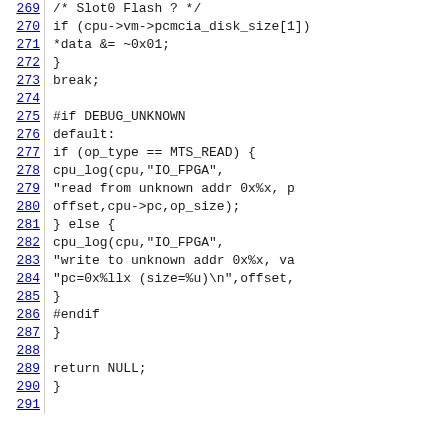[Figure (screenshot): Source code viewer showing C code lines 269-291 with line numbers in blue underlined on the left and code content on the right in monospace font]